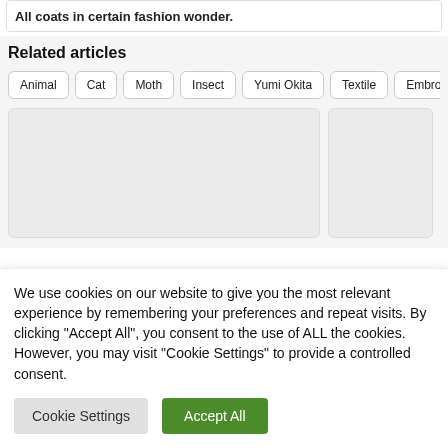All coats in certain fashion wonder.
Related articles
Animal
Cat
Moth
Insect
Yumi Okita
Textile
Embroidery
[Figure (other): Two article card thumbnails, mostly blank/grey placeholder images]
We use cookies on our website to give you the most relevant experience by remembering your preferences and repeat visits. By clicking "Accept All", you consent to the use of ALL the cookies. However, you may visit "Cookie Settings" to provide a controlled consent.